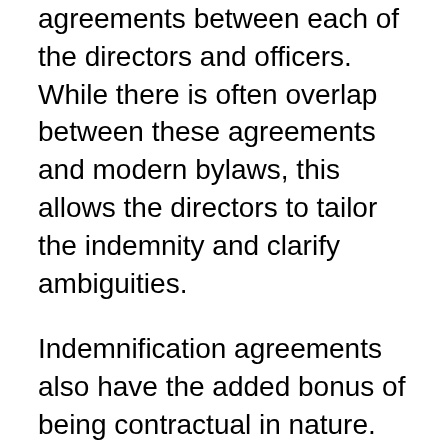agreements between each of the directors and officers. While there is often overlap between these agreements and modern bylaws, this allows the directors to tailor the indemnity and clarify ambiguities.
Indemnification agreements also have the added bonus of being contractual in nature. Bylaws can be changed with board and shareholder approval, whereas a contract cannot be unilaterally changed by either party.
D&O insurance
Even great corporate documents won't keep